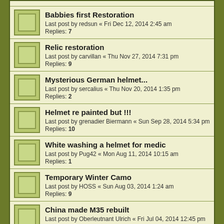Babbies first Restoration
Last post by redsun « Fri Dec 12, 2014 2:45 am
Replies: 7
Relic restoration
Last post by carvillan « Thu Nov 27, 2014 7:31 pm
Replies: 9
Mysterious German helmet...
Last post by sercalius « Thu Nov 20, 2014 1:35 pm
Replies: 2
Helmet re painted but !!!
Last post by grenadier Biermann « Sun Sep 28, 2014 5:34 pm
Replies: 10
White washing a helmet for medic
Last post by Pug42 « Mon Aug 11, 2014 10:15 am
Replies: 1
Temporary Winter Camo
Last post by HOSS « Sun Aug 03, 2014 1:24 am
Replies: 9
China made M35 rebuilt
Last post by Oberleutnant Ulrich « Fri Jul 04, 2014 12:45 pm
Replies: 3
Chromed helmet restoration Work in Progress
Last post by valkyrie895 « Wed Jun 18, 2014 12:37 am
Replies: 17